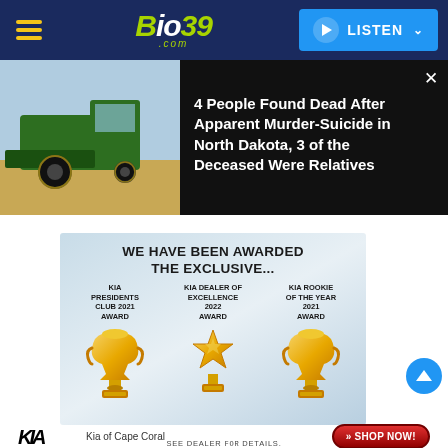Bio39.com — LISTEN
[Figure (screenshot): News thumbnail: green combine harvester in a field]
4 People Found Dead After Apparent Murder-Suicide in North Dakota, 3 of the Deceased Were Relatives
[Figure (infographic): Kia dealer awards ad: WE HAVE BEEN AWARDED THE EXCLUSIVE... KIA PRESIDENTS CLUB 2021 AWARD, KIA DEALER OF EXCELLENCE 2022 AWARD, KIA ROOKIE OF THE YEAR 2021 AWARD with trophy images]
Kia of Cape Coral
» SHOP NOW!
SEE DEALER FOR DETAILS.